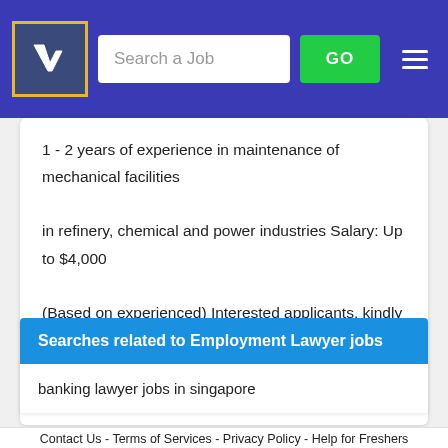[Figure (screenshot): Website header with logo, search bar with placeholder 'Search a Job', green GO button, and hamburger menu on blue/navy background]
1 - 2 years of experience in maintenance of mechanical facilities in refinery, chemical and power industries Salary: Up to $4,000 (Based on experienced) Interested applicants, kindly whatapps me at: 96227867 Responsibilities: Lead a team...
Searches related to Employment Lawyer jobs
banking lawyer jobs in singapore
Home / Employment Lawyer Jobs in singapore
Contact Us - Terms of Services - Privacy Policy - Help for Freshers